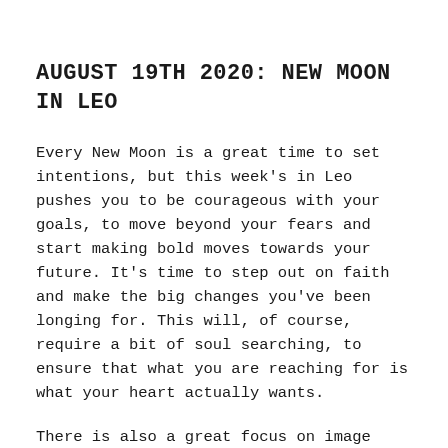AUGUST 19TH 2020: NEW MOON IN LEO
Every New Moon is a great time to set intentions, but this week's in Leo pushes you to be courageous with your goals, to move beyond your fears and start making bold moves towards your future. It's time to step out on faith and make the big changes you've been longing for. This will, of course, require a bit of soul searching, to ensure that what you are reaching for is what your heart actually wants.
There is also a great focus on image during this lunar cycle, particularly your feelings about your